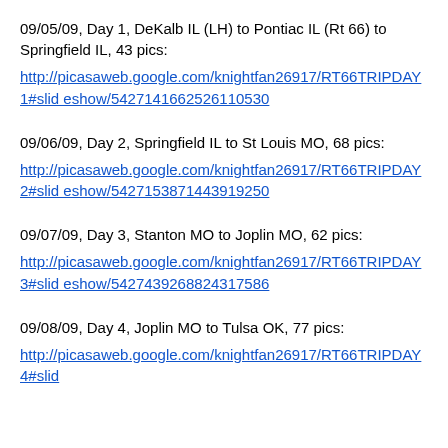09/05/09, Day 1, DeKalb IL (LH) to Pontiac IL (Rt 66) to Springfield IL, 43 pics:
http://picasaweb.google.com/knightfan26917/RT66TRIPDAY1#slideshow/5427141662526110530
09/06/09, Day 2, Springfield IL to St Louis MO, 68 pics:
http://picasaweb.google.com/knightfan26917/RT66TRIPDAY2#slideshow/5427153871443919250
09/07/09, Day 3, Stanton MO to Joplin MO, 62 pics:
http://picasaweb.google.com/knightfan26917/RT66TRIPDAY3#slideshow/5427439268824317586
09/08/09, Day 4, Joplin MO to Tulsa OK, 77 pics:
http://picasaweb.google.com/knightfan26917/RT66TRIPDAY4#slid